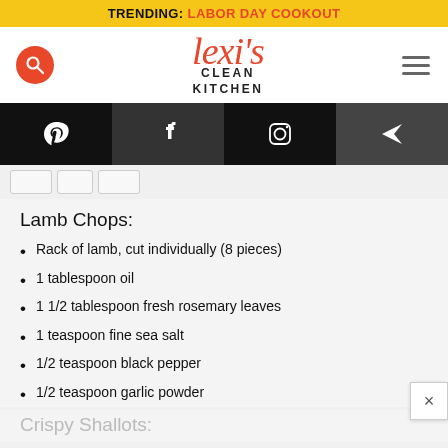TRENDING: LABOR DAY COOKOUT
[Figure (logo): Lexi's Clean Kitchen logo with search button and hamburger menu]
[Figure (infographic): Social media icon bar: Pinterest, Facebook, Instagram, Email/send]
Lamb Chops:
Rack of lamb, cut individually (8 pieces)
1 tablespoon oil
1 1/2 tablespoon fresh rosemary leaves
1 teaspoon fine sea salt
1/2 teaspoon black pepper
1/2 teaspoon garlic powder
Crispy Shallots: